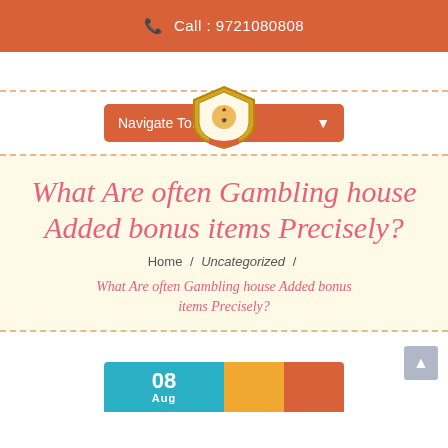Call : 9721080808
Navigate To...
What Are often Gambling house Added bonus items Precisely?
Home / Uncategorized /
What Are often Gambling house Added bonus items Precisely?
08 Aug